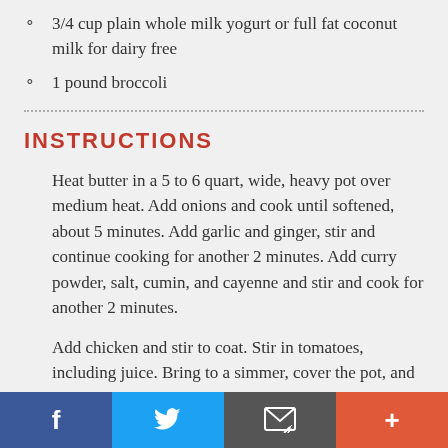3/4 cup plain whole milk yogurt or full fat coconut milk for dairy free
1 pound broccoli
INSTRUCTIONS
Heat butter in a 5 to 6 quart, wide, heavy pot over medium heat. Add onions and cook until softened, about 5 minutes. Add garlic and ginger, stir and continue cooking for another 2 minutes. Add curry powder, salt, cumin, and cayenne and stir and cook for another 2 minutes.
Add chicken and stir to coat. Stir in tomatoes, including juice. Bring to a simmer, cover the pot, and gently simmer until the chicken is cooked through, about 40 minutes.
Social share bar: Facebook, Twitter, Email, Plus